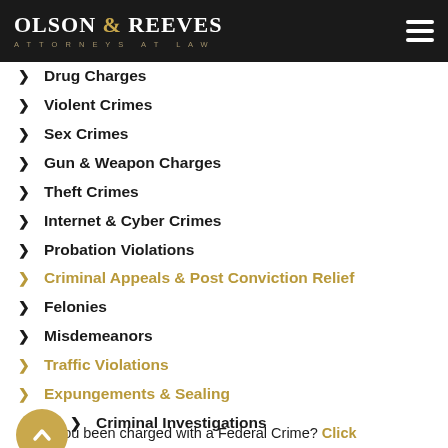OLSON & REEVES ATTORNEYS AT LAW
Drug Charges
Violent Crimes
Sex Crimes
Gun & Weapon Charges
Theft Crimes
Internet & Cyber Crimes
Probation Violations
Criminal Appeals & Post Conviction Relief
Felonies
Misdemeanors
Traffic Violations
Expungements & Sealing
Criminal Investigations
Have you been charged with a Federal Crime? Click